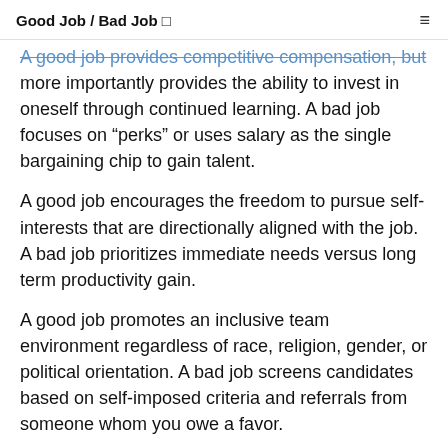Good Job / Bad Job
A good job provides competitive compensation, but more importantly provides the ability to invest in oneself through continued learning. A bad job focuses on “perks” or uses salary as the single bargaining chip to gain talent.
A good job encourages the freedom to pursue self-interests that are directionally aligned with the job. A bad job prioritizes immediate needs versus long term productivity gain.
A good job promotes an inclusive team environment regardless of race, religion, gender, or political orientation. A bad job screens candidates based on self-imposed criteria and referrals from someone whom you owe a favor.